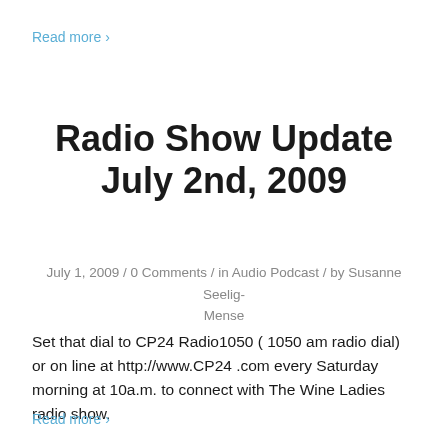Read more ›
Radio Show Update July 2nd, 2009
July 1, 2009 / 0 Comments / in Audio Podcast / by Susanne Seelig-Mense
Set that dial to CP24 Radio1050 ( 1050 am radio dial) or on line at http://www.CP24 .com every Saturday morning at 10a.m. to connect with The Wine Ladies radio show.
Read more ›